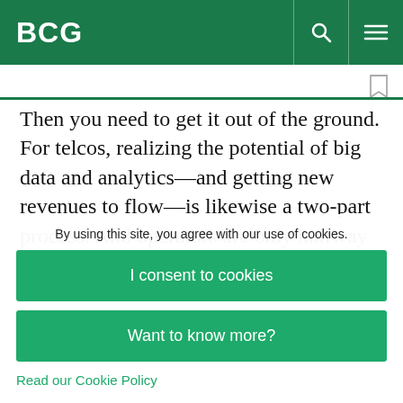BCG
Then you need to get it out of the ground. For telcos, realizing the potential of big data and analytics—and getting new revenues to flow—is likewise a two-part process. And operators are only halfway there. This year's telco IT benchmarking study found participants preparing their drill sites:
By using this site, you agree with our use of cookies.
I consent to cookies
Want to know more?
Read our Cookie Policy